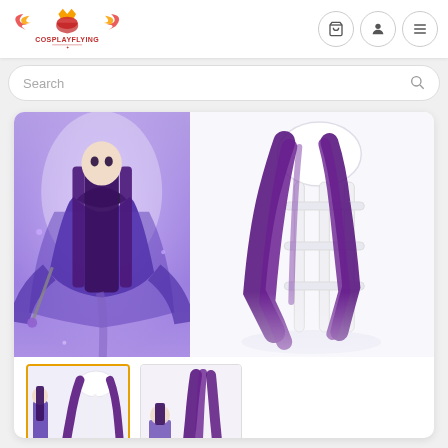[Figure (screenshot): CosplayFlying website header with logo, navigation icons (cart, profile, menu), search bar, main product image showing purple cosplay wig on display stand alongside anime character art, and two product thumbnail images below.]
COSPLAYFLYING